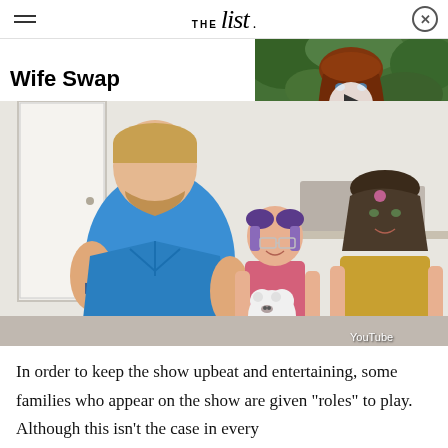THE list
Wife Swap
[Figure (photo): TV show Wife Swap scene: muscular man in blue shirt gesturing, young girl in pink holding stuffed animal, woman in yellow top, indoor setting. YouTube watermark.]
[Figure (photo): Thumbnail of red-haired woman with green foliage background, play button overlay.]
In order to keep the show upbeat and entertaining, some families who appear on the show are given "roles" to play. Although this isn't the case in every